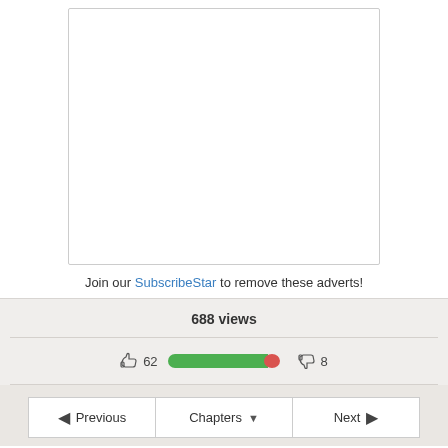[Figure (other): White advertisement box with border]
Join our SubscribeStar to remove these adverts!
688 views
[Figure (infographic): Rating bar showing 62 thumbs up and 8 thumbs down with green and red bar]
Previous  Chapters  Next